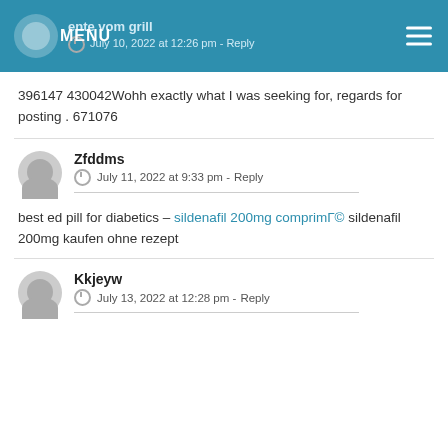MENU | ente vom grill | July 10, 2022 at 12:26 pm - Reply
396147 430042Wohh exactly what I was seeking for, regards for posting . 671076
Zfddms
July 11, 2022 at 9:33 pm - Reply
best ed pill for diabetics – sildenafil 200mg comprimГ© sildenafil 200mg kaufen ohne rezept
Kkjeyw
July 13, 2022 at 12:28 pm - Reply